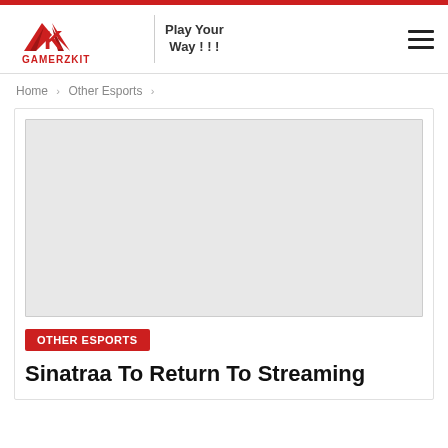GAMERZKIT — Play Your Way!!!
Home > Other Esports >
[Figure (photo): Placeholder image area (light gray rectangle) for an article thumbnail]
OTHER ESPORTS
Sinatraa To Return To Streaming